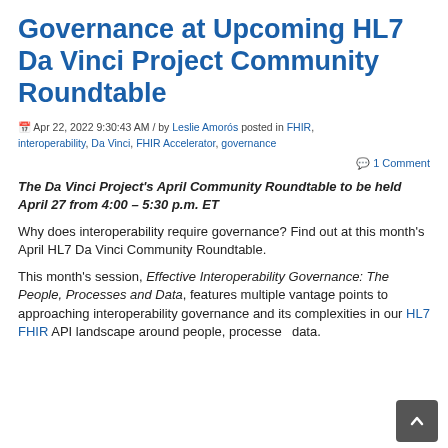Governance at Upcoming HL7 Da Vinci Project Community Roundtable
Apr 22, 2022 9:30:43 AM / by Leslie Amorós posted in FHIR, interoperability, Da Vinci, FHIR Accelerator, governance
1 Comment
The Da Vinci Project's April Community Roundtable to be held April 27 from 4:00 – 5:30 p.m. ET
Why does interoperability require governance? Find out at this month's April HL7 Da Vinci Community Roundtable.
This month's session, Effective Interoperability Governance: The People, Processes and Data, features multiple vantage points to approaching interoperability governance and its complexities in our HL7 FHIR API landscape around people, processes, and data.